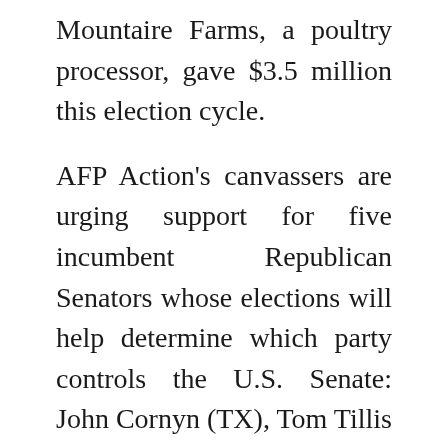Mountaire Farms, a poultry processor, gave $3.5 million this election cycle.
AFP Action's canvassers are urging support for five incumbent Republican Senators whose elections will help determine which party controls the U.S. Senate: John Cornyn (TX), Tom Tillis (NC), Cory Gardner (CO), Steve Daines (MT), and David Perdue (GA). It is also canvassing on behalf of Republican Roger Marshall for an open Senate seat in Koch's home state of Kansas.
AFP just announced a $5 million digital ad buy for the six states, but the 2020 total will be much higher. According to AFP president Tim Phillips, the group plans to spend $11 million just in North Carolina.
Almost $5.9 million of the money spent on canvassing so far has gone to reimburse AFP Action's parent